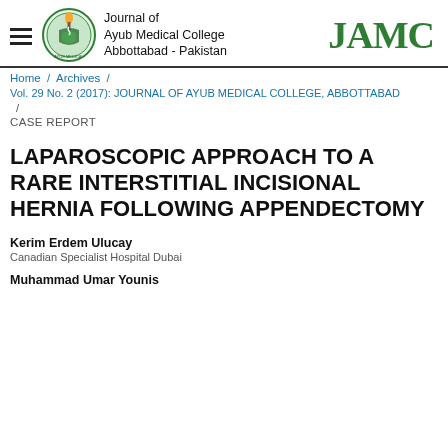Journal of Ayub Medical College Abbottabad - Pakistan | JAMC
Home / Archives / Vol. 29 No. 2 (2017): JOURNAL OF AYUB MEDICAL COLLEGE, ABBOTTABAD
/ CASE REPORT
LAPAROSCOPIC APPROACH TO A RARE INTERSTITIAL INCISIONAL HERNIA FOLLOWING APPENDECTOMY
Kerim Erdem Ulucay
Canadian Specialist Hospital Dubai
Muhammad Umar Younis